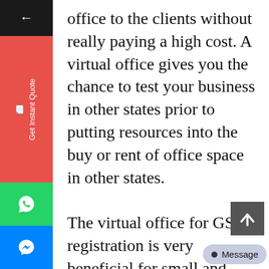office to the clients without really paying a high cost. A virtual office gives you the chance to test your business in other states prior to putting resources into the buy or rent of office space in other states. The virtual office for GST registration is very beneficial for small and medium businesses. Having a top-notch virtual office address in various states will assist you in running your business without really getting into renting a physical office space. The chance to set up a virtual office ensures that bearing the cost of physical office space is not required and virtual office is there to assist you.